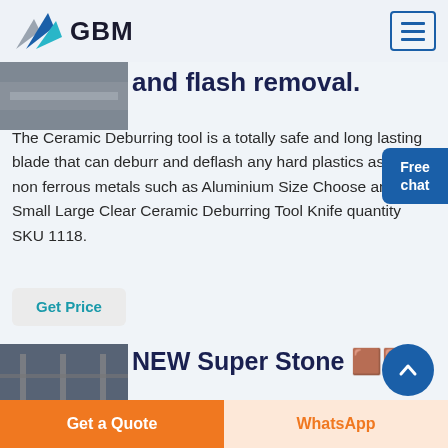GBM
and flash removal.
The Ceramic Deburring tool is a totally safe and long lasting blade that can deburr and deflash any hard plastics as well as non ferrous metals such as Aluminium Size Choose an option Small Large Clear Ceramic Deburring Tool Knife quantity SKU 1118.
Get Price
[Figure (photo): Industrial machinery or process photo (top)]
[Figure (photo): Industrial/warehouse interior photo (bottom)]
NEW Super Stone 🔲🔲
Get a Quote
WhatsApp